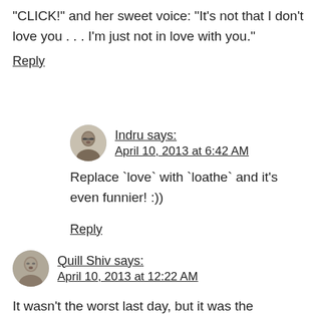“CLICK!” and her sweet voice: “It’s not that I don’t love you . . . I’m just not in love with you.”
Reply
Indru says:
April 10, 2013 at 6:42 AM
Replace `love` with `loathe` and it’s even funnier! :))
Reply
Quill Shiv says:
April 10, 2013 at 12:22 AM
It wasn’t the worst last day, but it was the